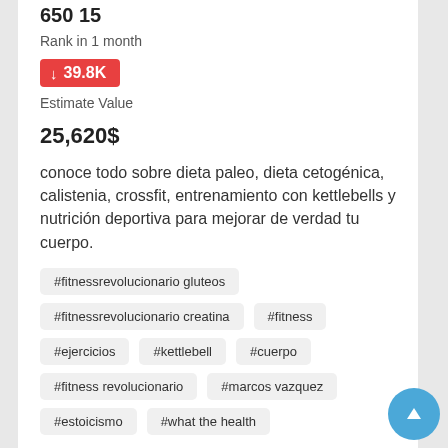Rank in 1 month
↓ 39.8K
Estimate Value
25,620$
conoce todo sobre dieta paleo, dieta cetogénica, calistenia, crossfit, entrenamiento con kettlebells y nutrición deportiva para mejorar de verdad tu cuerpo.
#fitnessrevolucionario gluteos
#fitnessrevolucionario creatina
#fitness
#ejercicios
#kettlebell
#cuerpo
#fitness revolucionario
#marcos vazquez
#estoicismo
#what the health